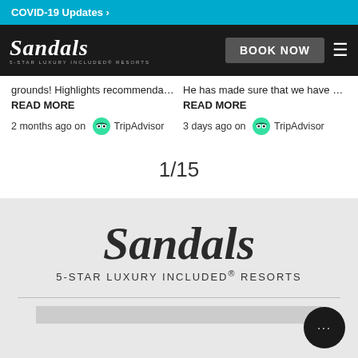COVID-19 Updates >
[Figure (logo): Sandals 5-Star Luxury Included Resorts navigation bar with BOOK NOW button and hamburger menu]
grounds! Highlights recommendation ...
READ MORE
2 months ago on TripAdvisor
He has made sure that we have bee
READ MORE
3 days ago on TripAdvisor
1/15
[Figure (logo): Sandals 5-Star Luxury Included Resorts large logo on grey background with horizontal divider and partial image at bottom]
5-STAR LUXURY INCLUDED® RESORTS